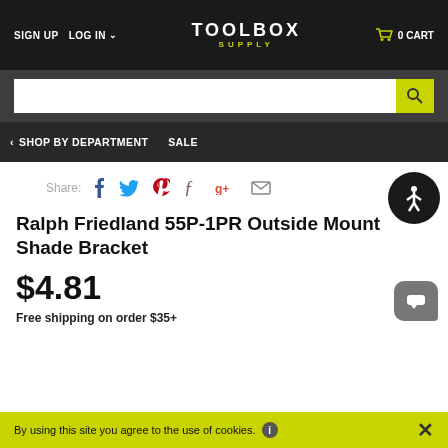SIGN UP  LOG IN  TOOLBOX SUPPLY  0 CART
Search
< SHOP BY DEPARTMENT  SALE
Share:
Ralph Friedland 55P-1PR Outside Mount Shade Bracket
$4.81
Free shipping on order $35+
By using this site you agree to the use of cookies.